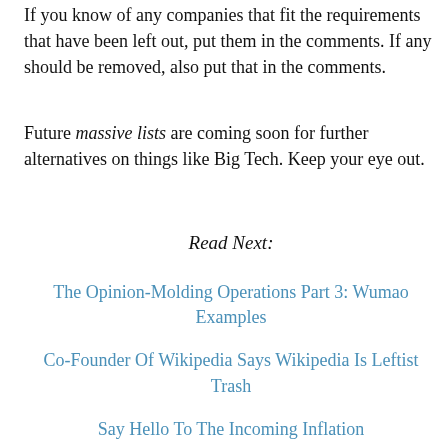Please help me grow these lists!
If you know of any companies that fit the requirements that have been left out, put them in the comments. If any should be removed, also put that in the comments.
Future massive lists are coming soon for further alternatives on things like Big Tech. Keep your eye out.
Read Next:
The Opinion-Molding Operations Part 3: Wumao Examples
Co-Founder Of Wikipedia Says Wikipedia Is Leftist Trash
Say Hello To The Incoming Inflation